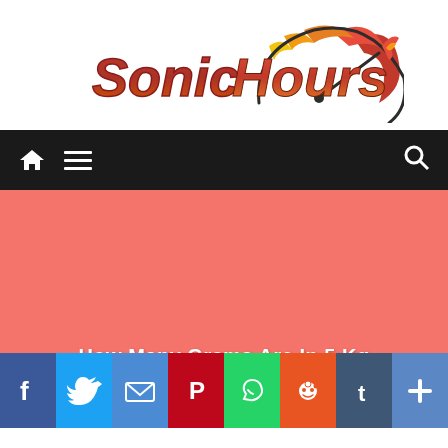[Figure (logo): SonicHours logo with stylized text and speedometer/flame graphic in red, orange, yellow gradient]
Navigation bar with home icon, menu icon, and search icon
[Figure (illustration): Salmon/coral colored hero image background with text 'How Many Grams Are In 5 Kg']
How Many Grams Are In 5 Kg
[Figure (infographic): Social share buttons row: Facebook, Twitter, Email, Pinterest, WhatsApp, Reddit, Tumblr, More]